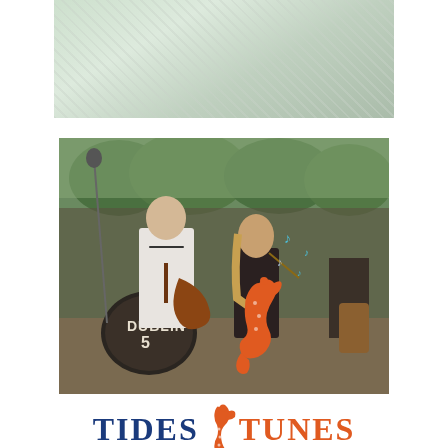[Figure (photo): Top portion of a photo showing light-colored fabric/clothing with a label, on a pale green/white background]
[Figure (photo): Outdoor concert photo of two musicians performing — a man playing guitar and a woman playing violin, with 'Dublin 5' drum kit visible, trees and waterfront in background, overlaid with orange seahorse logo and musical notes]
TIDES & TUNES
ANNAPOLIS MARITIME MUSEUM  2022 SUMMER CONCERT SERIES
THURSDAYS, 7-9 PM • JUNE 16 - AUGUST 18, 2022